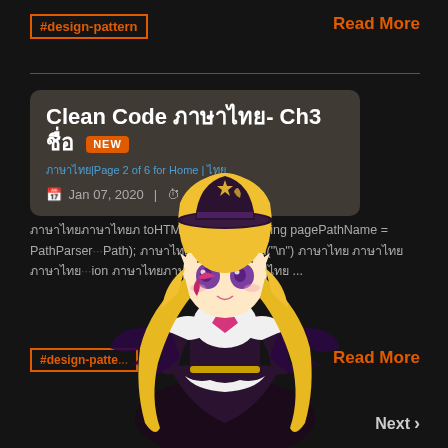#design-pattern
Read More
Clean Code ภาษาไทย- Ch3 ชื่อ
ภาษาไทย | Page 2 of 6 for Home | ไทย
Jan 07, 2020  |  About 4 mins
ภาษาไทยภาษาไทยภ toHTML(); ภาษาไทยString pagePathName = PathParser...Path); ภาษาไทยstring.append("\n") ภาษาไทย ภาษาไทยภาษาไทย...ion ภาษาไทยภาษาไทยภาษาไทย ไทย ...
#design-patte...
Read More
[Figure (illustration): Anime character with blonde twin-tails, witch hat, purple bat wings, and fantasy outfit]
Next >